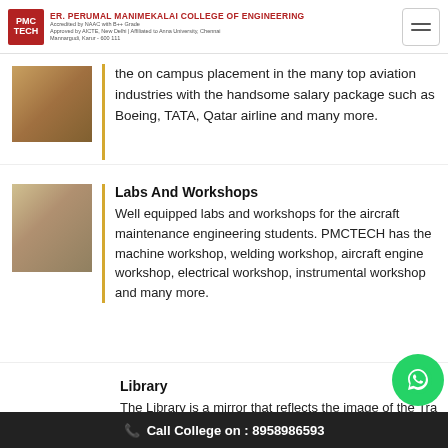Er. PERUMAL MANIMEKALAI COLLEGE OF ENGINEERING — Accredited by NAAC with B++ Grade — Approved by AICTE, New Delhi | Affiliated to Anna University, Chennai — Mannargudi, Karur - 600 111
the on campus placement in the many top aviation industries with the handsome salary package such as Boeing, TATA, Qatar airline and many more.
Labs And Workshops
Well equipped labs and workshops for the aircraft maintenance engineering students. PMCTECH has the machine workshop, welding workshop, aircraft engine workshop, electrical workshop, instrumental workshop and many more.
Library
The Library is a mirror that reflects the image of the Tra Institute. Our Institute is providing the books required for the
Call College on : 8958986593